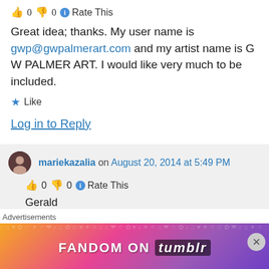👍 0 👎 0 ℹ Rate This
Great idea; thanks. My user name is gwp@gwpalmerart.com and my artist name is G W PALMER ART. I would like very much to be included.
★ Like
Log in to Reply
mariekazalia on August 20, 2014 at 5:49 PM
👍 0 👎 0 ℹ Rate This
Gerald
Advertisements
[Figure (infographic): FANDOM ON tumblr advertisement banner with colorful gradient background]